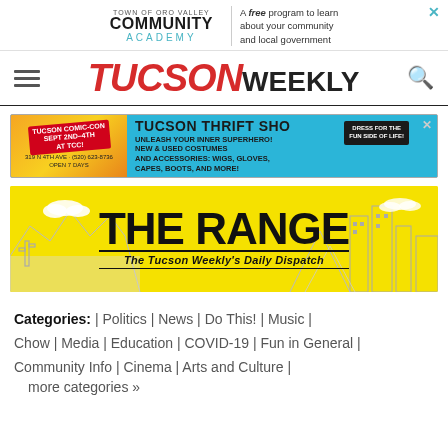[Figure (logo): Town of Oro Valley Community Academy ad banner with close button]
TUCSON WEEKLY
[Figure (infographic): Tucson Thrift Shop advertisement with Tucson Comic-Con theme, UNLEASH YOUR INNER SUPERHERO! NEW & USED COSTUMES AND ACCESSORIES: WIGS, GLOVES, CAPES, BOOTS, AND MORE! 319 N 4TH AVE (520) 623-8736 OPEN 7 DAYS]
[Figure (logo): The Range - The Tucson Weekly's Daily Dispatch banner with yellow background and desert skyline sketch]
Categories: | Politics | News | Do This! | Music | Chow | Media | Education | COVID-19 | Fun in General | Community Info | Cinema | Arts and Culture | more categories »